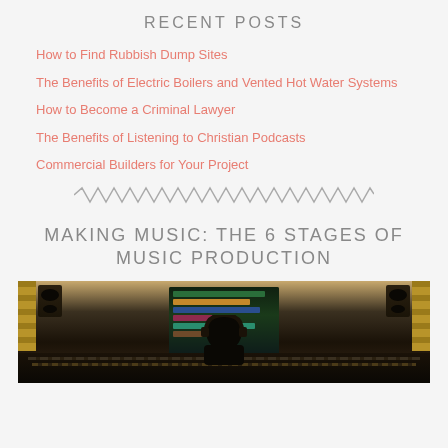RECENT POSTS
How to Find Rubbish Dump Sites
The Benefits of Electric Boilers and Vented Hot Water Systems
How to Become a Criminal Lawyer
The Benefits of Listening to Christian Podcasts
Commercial Builders for Your Project
MAKING MUSIC: THE 6 STAGES OF MUSIC PRODUCTION
[Figure (photo): Person sitting at a music production studio console with multiple monitors showing DAW software, studio monitor speakers on either side, acoustic panels visible, dark studio environment]